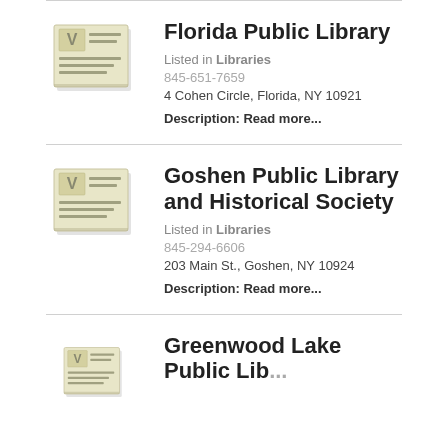[Figure (logo): Generic listing thumbnail icon with a V and lines, yellowish-cream background]
Florida Public Library
Listed in Libraries
845-651-7659
4 Cohen Circle, Florida, NY 10921
Description: Read more...
[Figure (logo): Generic listing thumbnail icon with a V and lines, yellowish-cream background]
Goshen Public Library and Historical Society
Listed in Libraries
845-294-6606
203 Main St., Goshen, NY 10924
Description: Read more...
[Figure (logo): Generic listing thumbnail icon with a V and lines, yellowish-cream background]
Greenwood Lake Public Library